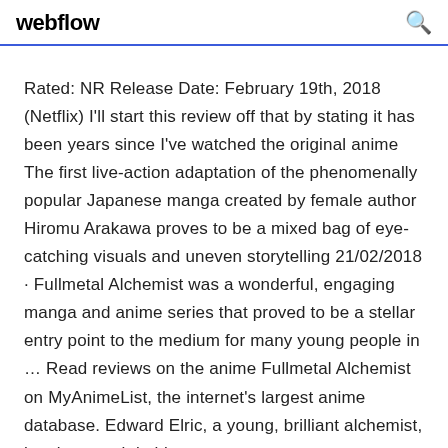webflow
Rated: NR Release Date: February 19th, 2018 (Netflix) I'll start this review off that by stating it has been years since I've watched the original anime The first live-action adaptation of the phenomenally popular Japanese manga created by female author Hiromu Arakawa proves to be a mixed bag of eye-catching visuals and uneven storytelling 21/02/2018 · Fullmetal Alchemist was a wonderful, engaging manga and anime series that proved to be a stellar entry point to the medium for many young people in … Read reviews on the anime Fullmetal Alchemist on MyAnimeList, the internet's largest anime database. Edward Elric, a young, brilliant alchemist, has lost much in his